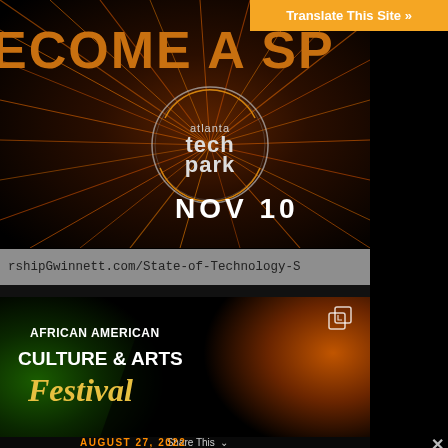[Figure (screenshot): Orange translate button in top right corner reading 'Translate This Site »']
[Figure (screenshot): Atlanta Tech Park event promotional image with starburst background, circular logo, and 'NOV 10' date]
ECOME A SPONSO
NOV 10
rshipGwinnett.com/State-of-Technology-S
[Figure (screenshot): African American Culture & Arts Festival promotional image with green and orange split background]
AFRICAN AMERICAN CULTURE & ARTS Festival
Share This
AUGUST 27, 2022